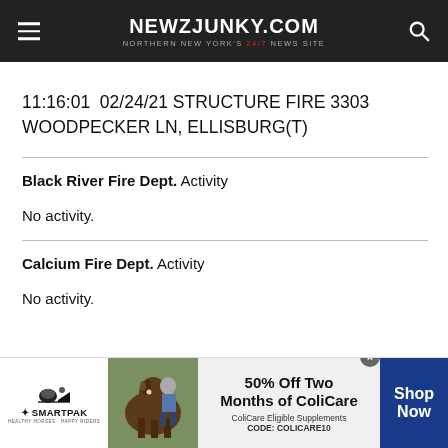NEWZJUNKY.COM — NORTHERN NEW YORK'S 24/7 NEWS SITE
11:16:01  02/24/21 STRUCTURE FIRE 3303 WOODPECKER LN, ELLISBURG(T)
Black River Fire Dept. Activity
No activity.
Calcium Fire Dept. Activity
No activity.
[Figure (screenshot): SmartPak advertisement banner — 50% Off Two Months of ColiCare, ColiCare Eligible Supplements CODE: COLICARE10, Shop Now button]